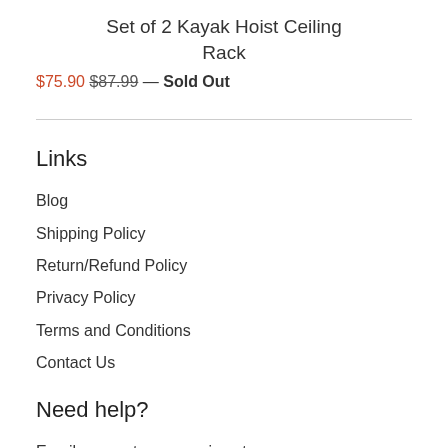Set of 2 Kayak Hoist Ceiling Rack
$75.90 $87.99 — Sold Out
Links
Blog
Shipping Policy
Return/Refund Policy
Privacy Policy
Terms and Conditions
Contact Us
Need help?
Email our customer service at info@aussiesales.com.au